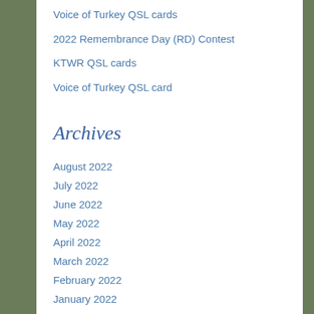Voice of Turkey QSL cards
2022 Remembrance Day (RD) Contest
KTWR QSL cards
Voice of Turkey QSL card
Archives
August 2022
July 2022
June 2022
May 2022
April 2022
March 2022
February 2022
January 2022
December 2021
November 2021